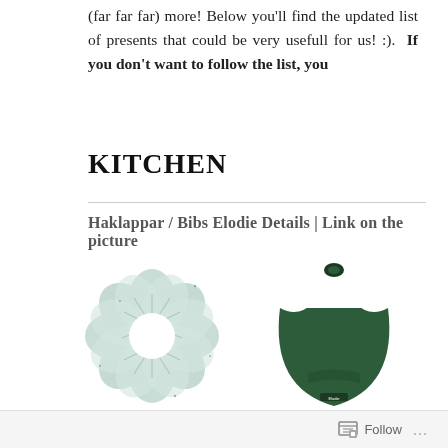(far far far) more! Below you'll find the updated list of presents that could be very usefull for us! :).  If you don't want to follow the list, you
KITCHEN
Haklappar / Bibs Elodie Details | Link on the picture
[Figure (photo): Two baby bibs from Elodie Details: a flower-shaped fabric bib with teal/white dandelion print on the left, and a dark green classic bib with white collar on the right.]
Follow ...